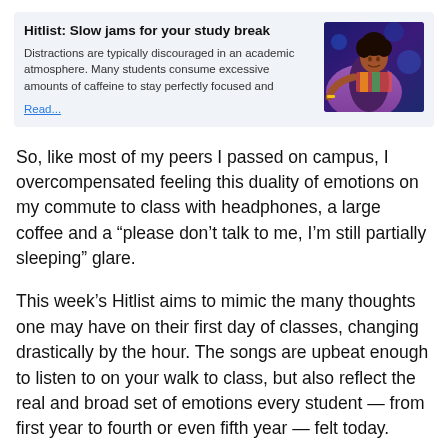Hitlist: Slow jams for your study break
Distractions are typically discouraged in an academic atmosphere. Many students consume excessive amounts of caffeine to stay perfectly focused and Read...
[Figure (photo): A woman in colorful clothing reclining against a purple/blue background, appearing to be at a music event or performance.]
So, like most of my peers I passed on campus, I overcompensated feeling this duality of emotions on my commute to class with headphones, a large coffee and a “please don’t talk to me, I’m still partially sleeping” glare.
This week’s Hitlist aims to mimic the many thoughts one may have on their first day of classes, changing drastically by the hour. The songs are upbeat enough to listen to on your walk to class, but also reflect the real and broad set of emotions every student — from first year to fourth or even fifth year — felt today.